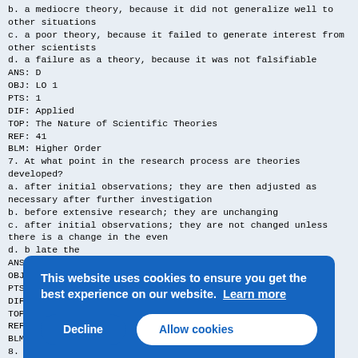b. a mediocre theory, because it did not generalize well to other situations
c. a poor theory, because it failed to generate interest from other scientists
d. a failure as a theory, because it was not falsifiable
ANS: D
OBJ: LO 1
PTS: 1
DIF: Applied
TOP: The Nature of Scientific Theories
REF: 41
BLM: Higher Order
7. At what point in the research process are theories developed?
a. after initial observations; they are then adjusted as necessary after further investigation
b. before extensive research; they are unchanging
c. after initial observations; they are not changed unless there is a change in the even
d. b late the
ANS:
OBJ:
PTS:
DIF:
TOP:
REF:
BLM:
8. According to Freud, which component of personality
Cookie banner: This website uses cookies to ensure you get the best experience on our website. Learn more. [Decline] [Allow cookies]